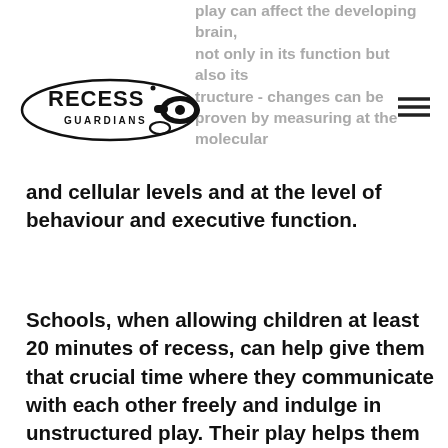[Figure (logo): Recess Guardians logo with whistle illustration]
play can affect the developing brain, not only in its function but also its structure - changes can be proven by measuring at the molecular and cellular levels and at the level of behaviour and executive function.
Schools, when allowing children at least 20 minutes of recess, can help give them that crucial time where they communicate with each other freely and indulge in unstructured play. Their play helps them learn and keeps them active to sustain themselves for the other half of the school day. Playful learning doesn't mean children should only be left to play and discover things on their own, which is, of course, a part of development, but also means to